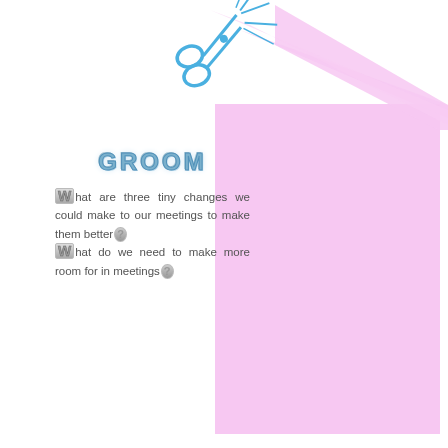[Figure (illustration): Blue scissors icon with pink light beam/triangle extending to the right, decorative element at top of page]
GROOM
What are three tiny changes we could make to our meetings to make them better? What do we need to make more room for in meetings?